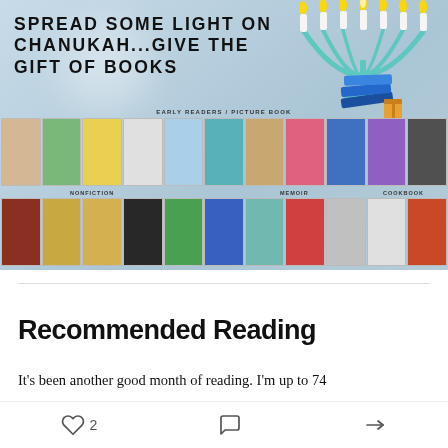[Figure (illustration): Chanukah book gift promotional banner with menorah, book covers organized under Early Readers/Picture Book, Nonfiction, Memoir, and Cookbook categories. Text reads: SPREAD SOME LIGHT ON CHANUKAH...GIVE THE GIFT OF BOOKS]
Recommended Reading
It's been another good month of reading. I'm up to 74